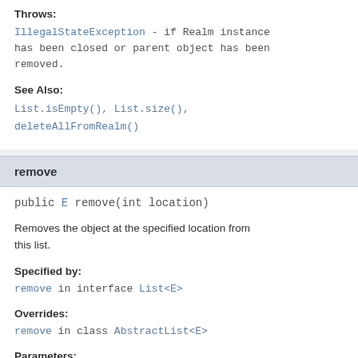Throws:
IllegalStateException - if Realm instance has been closed or parent object has been removed.
See Also:
List.isEmpty(), List.size(), deleteAllFromRealm()
remove
public E remove(int location)
Removes the object at the specified location from this list.
Specified by:
remove in interface List<E>
Overrides:
remove in class AbstractList<E>
Parameters:
location - the index of the object to